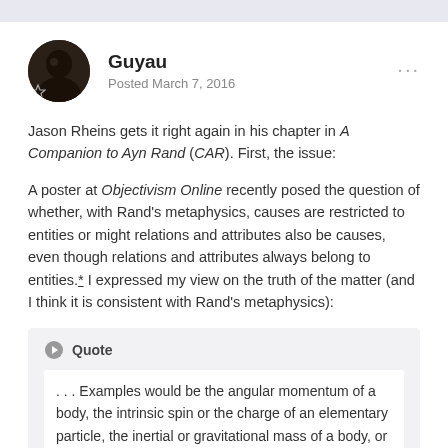Guyau
Posted March 7, 2016
Jason Rheins gets it right again in his chapter in A Companion to Ayn Rand (CAR). First, the issue:
A poster at Objectivism Online recently posed the question of whether, with Rand's metaphysics, causes are restricted to entities or might relations and attributes also be causes, even though relations and attributes always belong to entities.* I expressed my view on the truth of the matter (and I think it is consistent with Rand's metaphysics):
. . . Examples would be the angular momentum of a body, the intrinsic spin or the charge of an elementary particle, the inertial or gravitational mass of a body, or the intensity of a field.